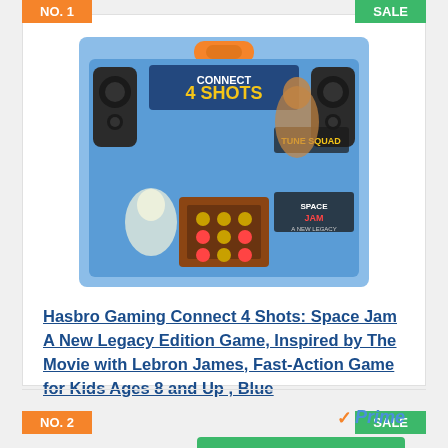[Figure (photo): Product photo of Hasbro Gaming Connect 4 Shots Space Jam A New Legacy Edition board game box with blue design, Space Jam characters, and orange handle]
Hasbro Gaming Connect 4 Shots: Space Jam A New Legacy Edition Game, Inspired by The Movie with Lebron James, Fast-Action Game for Kids Ages 8 and Up , Blue
View on Amazon